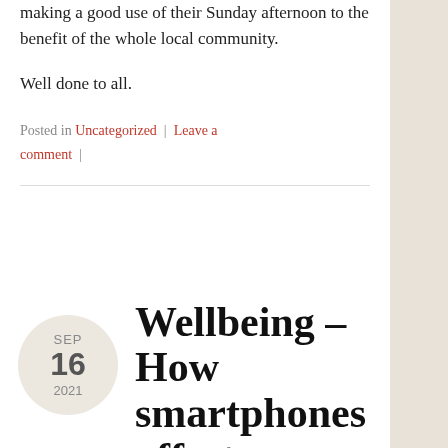making a good use of their Sunday afternoon to the benefit of the whole local community.
Well done to all.
Posted in Uncategorized | Leave a comment |
Wellbeing – How smartphones affect your sleep